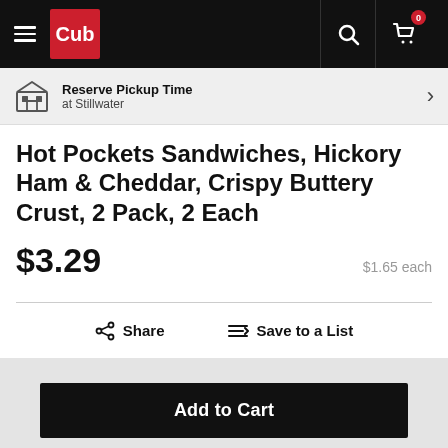Cub — Navigation bar with hamburger menu, Cub logo, search, and cart (0 items)
Reserve Pickup Time at Stillwater
Hot Pockets Sandwiches, Hickory Ham & Cheddar, Crispy Buttery Crust, 2 Pack, 2 Each
$3.29  $1.65 each
Share   Save to a List
Add to Cart